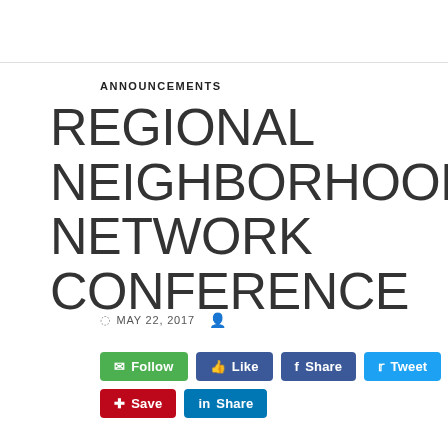ANNOUNCEMENTS
REGIONAL NEIGHBORHOOD NETWORK CONFERENCE
MAY 22, 2017
[Figure (other): Social media action buttons: Follow (green), Like (blue), Share (Facebook blue), Tweet (Twitter blue), Save (Pinterest red), Share (LinkedIn blue)]